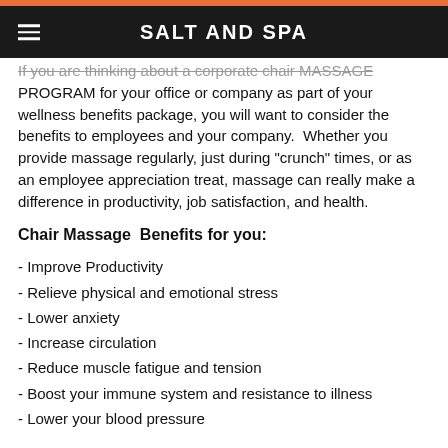SALT AND SPA
If you are thinking about a corporate chair MASSAGE PROGRAM for your office or company as part of your wellness benefits package, you will want to consider the benefits to employees and your company.  Whether you provide massage regularly, just during "crunch" times, or as an employee appreciation treat, massage can really make a difference in productivity, job satisfaction, and health.
Chair Massage  Benefits for you:
- Improve Productivity
- Relieve physical and emotional stress
- Lower anxiety
- Increase circulation
- Reduce muscle fatigue and tension
- Boost your immune system and resistance to illness
- Lower your blood pressure